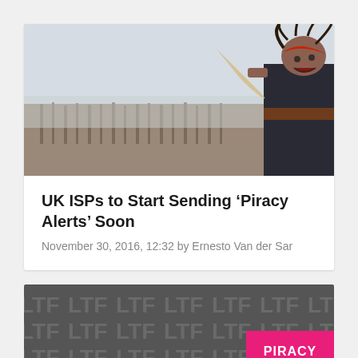[Figure (photo): A pirate scene from a movie showing a man with dreadlocks in dark costume waving a cloth, with army of soldiers in foggy background]
UK ISPs to Start Sending ‘Piracy Alerts’ Soon
November 30, 2016, 12:32 by Ernesto Van der Sar
[Figure (logo): TorrentFreak logo pattern repeated as background texture on dark grey background with PIRACY badge in pink/magenta]